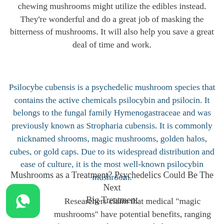chewing mushrooms might utilize the edibles instead. They're wonderful and do a great job of masking the bitterness of mushrooms. It will also help you save a great deal of time and work.
Psilocybe cubensis is a psychedelic mushroom species that contains the active chemicals psilocybin and psilocin. It belongs to the fungal family Hymenogastraceae and was previously known as Stropharia cubensis. It is commonly nicknamed shrooms, magic mushrooms, golden halos, cubes, or gold caps. Due to its widespread distribution and ease of culture, it is the most well-known psilocybin mushroom.
Mushrooms as a Treatment? Psychedelics Could Be The Next Big Treatment
Researchers claim that medical "magic mushrooms" have potential benefits, ranging from treating depression to helping manage alcohol addiction and cancer-related
[Figure (logo): WhatsApp app icon — green rounded square with white phone/chat logo]